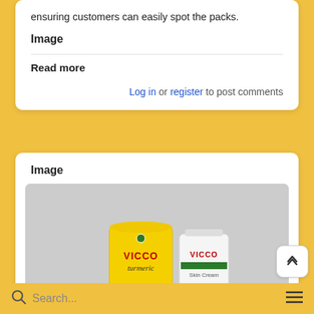ensuring customers can easily spot the packs.
Image
Read more
Log in or register to post comments
Image
[Figure (photo): Two Vicco Turmeric product packages — a yellow pouch and a white tube — on a grey background]
Search...